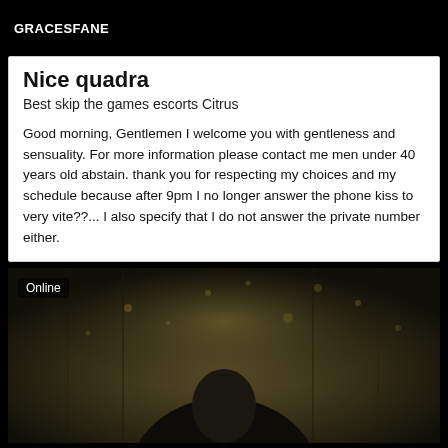GRACESFANE
Nice quadra
Best skip the games escorts Citrus
Good morning, Gentlemen I welcome you with gentleness and sensuality. For more information please contact me men under 40 years old abstain. thank you for respecting my choices and my schedule because after 9pm I no longer answer the phone kiss to very vite??... I also specify that I do not answer the private number either.
[Figure (photo): Dark atmospheric photo of a person seen from behind with bokeh background lighting]